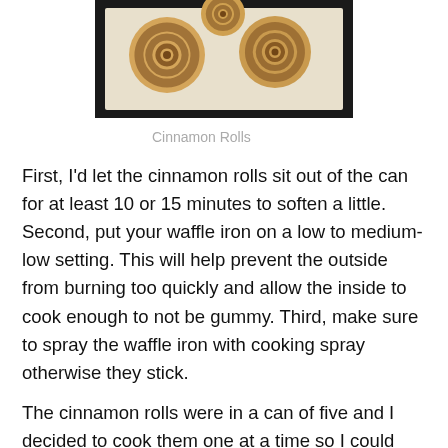[Figure (photo): Cinnamon rolls (uncooked dough spirals) on parchment paper on a dark baking tray]
Cinnamon Rolls
First, I'd let the cinnamon rolls sit out of the can for at least 10 or 15 minutes to soften a little. Second, put your waffle iron on a low to medium-low setting. This will help prevent the outside from burning too quickly and allow the inside to cook enough to not be gummy. Third, make sure to spray the waffle iron with cooking spray otherwise they stick.
The cinnamon rolls were in a can of five and I decided to cook them one at a time so I could monitor cooking time and temperature. I also only have a standard, round waffle iron and I thought they would get too crowded. I think you could also use the smaller cinnamon rolls and cook